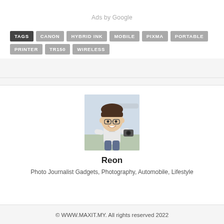Ads by Google
TAGS  CANON  HYBRID INK  MOBILE  PIXMA  PORTABLE  PRINTER  TR150  WIRELESS
[Figure (illustration): Cartoon avatar of a young man with glasses holding a camera, with a travel/airport background.]
Reon
Photo Journalist Gadgets, Photography, Automobile, Lifestyle
© WWW.MAXIT.MY. All rights reserved 2022